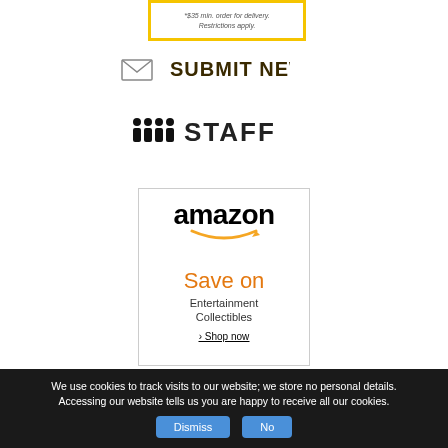[Figure (other): Yellow-bordered promotional box with text '*$35 min. order for delivery. Restrictions apply.']
[Figure (other): Submit News button with envelope icon and bold text 'SUBMIT NEWS']
[Figure (other): Staff button with people icon and bold text 'STAFF']
[Figure (other): Amazon advertisement box with Amazon logo, orange smile, 'Save on Entertainment Collectibles' text and '> Shop now' link]
We use cookies to track visits to our website; we store no personal details. Accessing our website tells us you are happy to receive all our cookies.
Dismiss | No